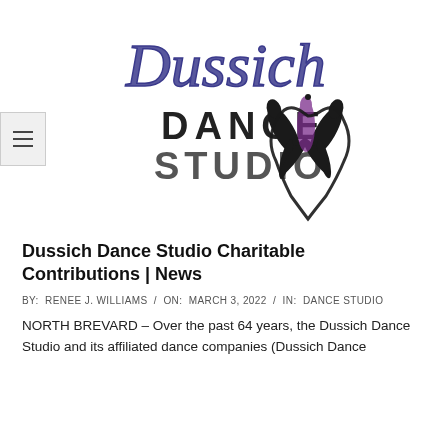[Figure (logo): Dussich Dance Studio logo with cursive 'Dussich' in blue/purple script above 'DANCE STUDIO' in block letters, with two silhouetted dancers forming a heart shape in black and purple]
Dussich Dance Studio Charitable Contributions | News
BY:  RENEE J. WILLIAMS  /  ON:  MARCH 3, 2022  /  IN:  DANCE STUDIO
NORTH BREVARD – Over the past 64 years, the Dussich Dance Studio and its affiliated dance companies (Dussich Dance